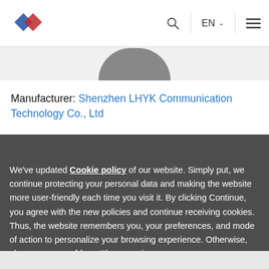LHYK logo | Search | EN | Menu
[Figure (screenshot): Top portion of a product page showing a gray dome-shaped product image]
Manufacturer: Shenzhen LHYK Communication Technology Co., Ltd
We've updated Cookie policy of our website. Simply put, we continue protecting your personal data and making the website more user-friendly each time you visit it. By clicking Continue, you agree with the new policies and continue receiving cookies. Thus, the website remembers you, your preferences, and mode of action to personalize your browsing experience. Otherwise, change your cookie settings anytime.
CONTINUE